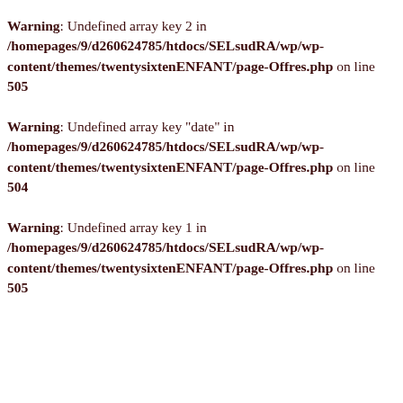Warning: Undefined array key 2 in /homepages/9/d260624785/htdocs/SELsudRA/wp/wp-content/themes/twentysixtenENFANT/page-Offres.php on line 505
Warning: Undefined array key "date" in /homepages/9/d260624785/htdocs/SELsudRA/wp/wp-content/themes/twentysixtenENFANT/page-Offres.php on line 504
Warning: Undefined array key 1 in /homepages/9/d260624785/htdocs/SELsudRA/wp/wp-content/themes/twentysixtenENFANT/page-Offres.php on line 505